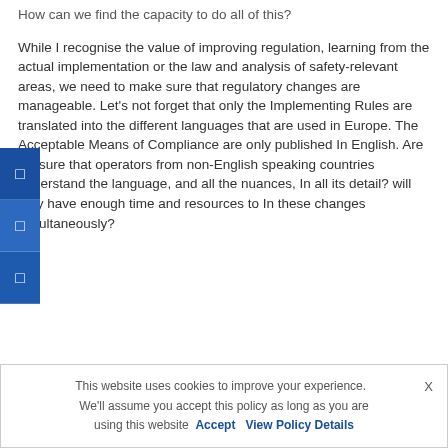How can we find the capacity to do all of this?
While I recognise the value of improving regulation, learning from the actual implementation or the law and analysis of safety-relevant areas, we need to make sure that regulatory changes are manageable. Let's not forget that only the Implementing Rules are translated into the different languages that are used in Europe. The Acceptable Means of Compliance are only published In English. Are we sure that operators from non-English speaking countries understand the language, and all the nuances, In all its detail? will they have enough time and resources to In these changes simultaneously?
This website uses cookies to improve your experience.  We'll assume you accept this policy as long as you are using this website  Accept  View Policy Details